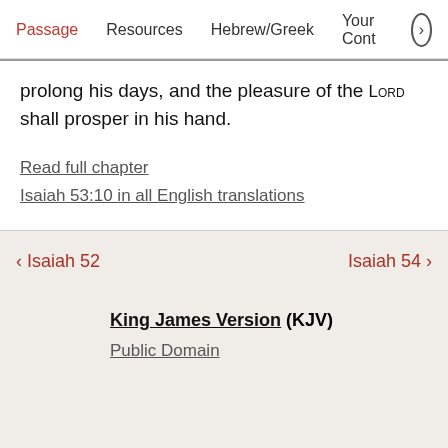Passage   Resources   Hebrew/Greek   Your Cont >
prolong his days, and the pleasure of the LORD shall prosper in his hand.
Read full chapter
Isaiah 53:10 in all English translations
< Isaiah 52   Isaiah 54 >
King James Version (KJV)
Public Domain